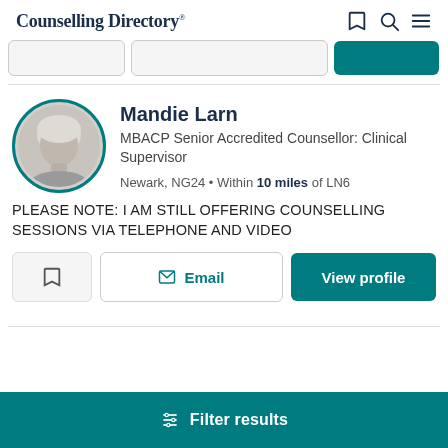Counselling Directory®
[Figure (screenshot): Search bar area with three pill-shaped inputs: a location field, a search field, and a teal search button]
[Figure (photo): Circular profile photo of Mandie Larn, an older woman with short light hair, framed with a teal border]
Mandie Larn
MBACP Senior Accredited Counsellor: Clinical Supervisor
Newark, NG24 • Within 10 miles of LN6
PLEASE NOTE: I AM STILL OFFERING COUNSELLING SESSIONS VIA TELEPHONE AND VIDEO
Email
View profile
Filter results